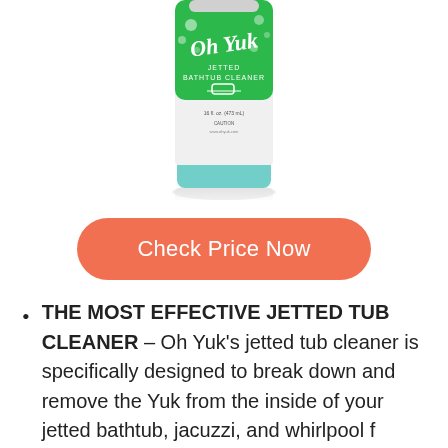[Figure (photo): Oh Yuk Jetted Bathtub Cleaner product bottle — a tall cylindrical bottle with a green label featuring the 'Oh Yuk' brand name in white script, and a teal/mint colored bottom cap, with a faint reflection below.]
Check Price Now
THE MOST EFFECTIVE JETTED TUB CLEANER – Oh Yuk's jetted tub cleaner is specifically designed to break down and remove the Yuk from the inside of your jetted bathtub, jacuzzi, and whirlpool f…